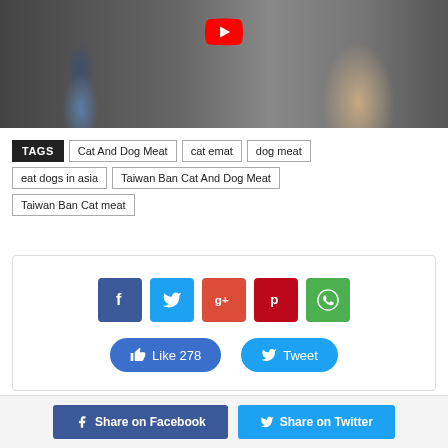[Figure (photo): Photo of people with a dog, with a YouTube play button overlay visible at top center]
TAGS  Cat And Dog Meat  cat emat  dog meat  eat dogs in asia  Taiwan Ban Cat And Dog Meat  Taiwan Ban Cat meat
[Figure (infographic): Social sharing buttons: Facebook (f), Twitter, Google+, Pinterest, WhatsApp icons, and Like 278 and Tweet buttons]
[Figure (infographic): Bottom bar with Share on Facebook and Share on Twitter buttons]